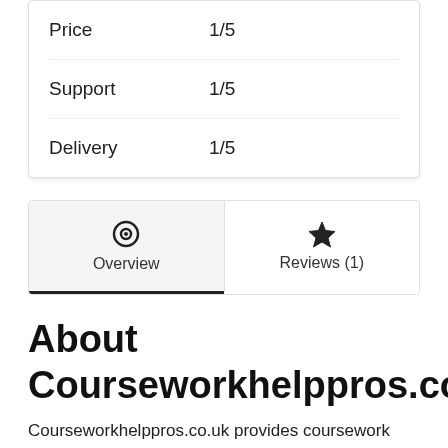| Category | Rating |
| --- | --- |
| Price | 1/5 |
| Support | 1/5 |
| Delivery | 1/5 |
Overview | Reviews (1)
About Courseworkhelppros.co.uk
Courseworkhelppros.co.uk provides coursework writing